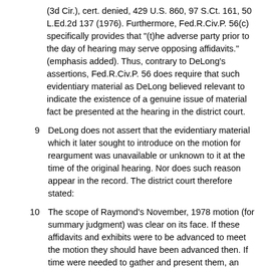(3d Cir.), cert. denied, 429 U.S. 860, 97 S.Ct. 161, 50 L.Ed.2d 137 (1976). Furthermore, Fed.R.Civ.P. 56(c) specifically provides that "(t)he adverse party prior to the day of hearing may serve opposing affidavits." (emphasis added). Thus, contrary to DeLong's assertions, Fed.R.Civ.P. 56 does require that such evidentiary material as DeLong believed relevant to indicate the existence of a genuine issue of material fact be presented at the hearing in the district court.
9  DeLong does not assert that the evidentiary material which it later sought to introduce on the motion for reargument was unavailable or unknown to it at the time of the original hearing. Nor does such reason appear in the record. The district court therefore stated:
10  The scope of Raymond's November, 1978 motion (for summary judgment) was clear on its face. If these affidavits and exhibits were to be advanced to meet the motion they should have been advanced then. If time were needed to gather and present them, an adjournment should have been requested.
11  It is important to observe that these affidavits and exhibits were in the possession of DeLong or available to it without seeking discovery from Raymond.